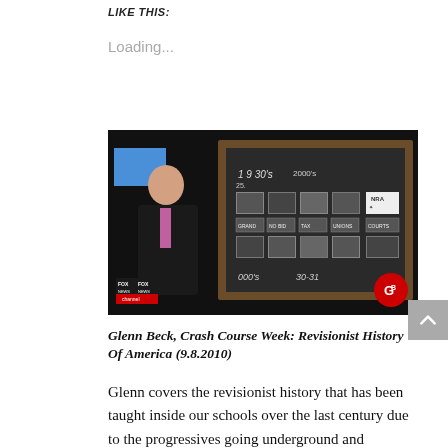LIKE THIS:
Loading...
[Figure (screenshot): Screenshot of Glenn Beck on Fox News channel standing in front of a chalkboard with historical photos and text including '1930s', '2000s', 'GRAND', 'NO BID', 'TAX', 'UNIONS', 'COURTS', and the Fox News channel logo and GB logo visible.]
Glenn Beck, Crash Course Week: Revisionist History Of America (9.8.2010)
Glenn covers the revisionist history that has been taught inside our schools over the last century due to the progressives going underground and infiltrating our